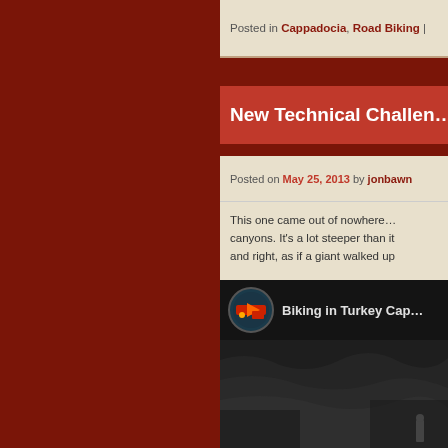Posted in Cappadocia, Road Biking |
New Technical Challen...
Posted on May 25, 2013 by jonbawn
This one came out of nowhere… canyons. It's a lot steeper than it and right, as if a giant walked up
[Figure (screenshot): YouTube video thumbnail showing 'Biking in Turkey Cap...' with a dark rocky canyon background and a channel logo on the left.]